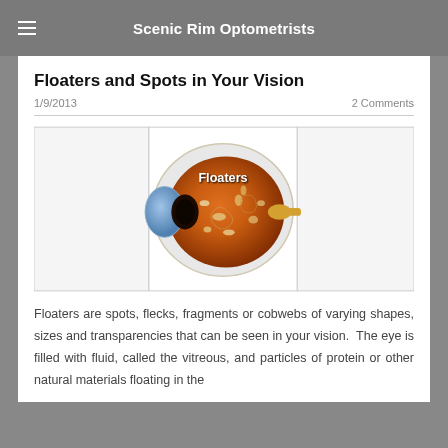Scenic Rim Optometrists
Floaters and Spots in Your Vision
1/9/2013
2 Comments
[Figure (illustration): Medical illustration of a human eye in cross-section showing orange/brown vitreous humor with floaters visible inside, labeled 'Floaters' in white text]
Floaters are spots, flecks, fragments or cobwebs of varying shapes, sizes and transparencies that can be seen in your vision.  The eye is filled with fluid, called the vitreous, and particles of protein or other natural materials floating in the